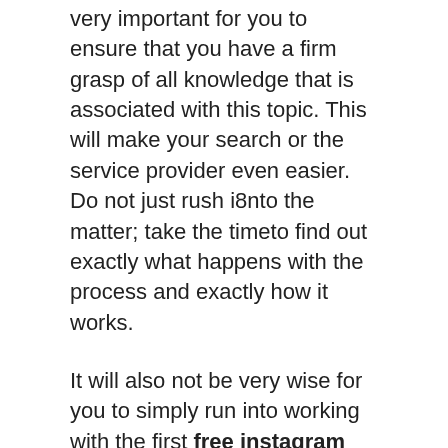very important for you to ensure that you have a firm grasp of all knowledge that is associated with this topic. This will make your search or the service provider even easier. Do not just rush i8nto the matter; take the timeto find out exactly what happens with the process and exactly how it works.
It will also not be very wise for you to simply run into working with the first free instagram autolikes service provider that you meet. You need to take the time to research on the different providers that are